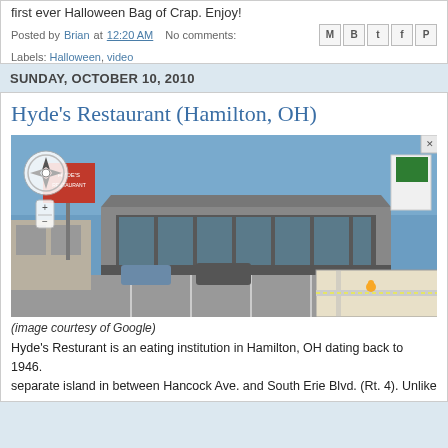first ever Halloween Bag of Crap. Enjoy!
Posted by Brian at 12:20 AM   No comments:
Labels: Halloween, video
SUNDAY, OCTOBER 10, 2010
Hyde's Restaurant (Hamilton, OH)
[Figure (photo): Google Street View of Hyde's Restaurant in Hamilton, OH. Shows a low-rise commercial building with large windows, a parking lot, and a road sign. A smaller map inset appears in the bottom-right corner.]
(image courtesy of Google)
Hyde's Resturant is an eating institution in Hamilton, OH dating back to 1946. separate island in between Hancock Ave. and South Erie Blvd. (Rt. 4). Unlike